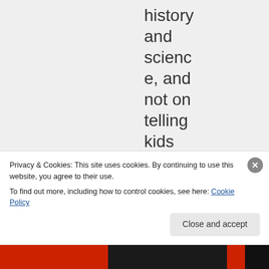history and science, and not on telling kids what invisible man in the
Privacy & Cookies: This site uses cookies. By continuing to use this website, you agree to their use.
To find out more, including how to control cookies, see here: Cookie Policy